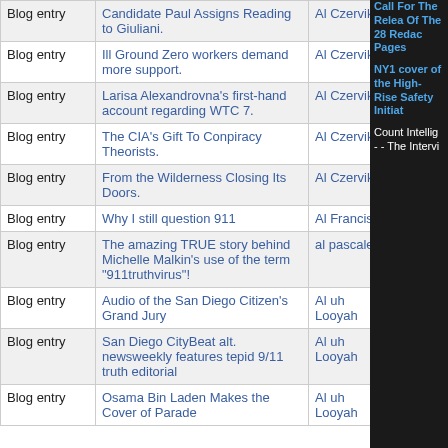| Type | Title | Author | Count |  |
| --- | --- | --- | --- | --- |
| Blog entry | Candidate Paul Assigns Reading to Giuliani. | Al Czervik | 2 | 2 |
| Blog entry | Ill Ground Zero workers demand more support. | Al Czervik | 1 | 2 |
| Blog entry | Larisa Alexandrovna's first-hand account regarding WTC 7. | Al Czervik | 3 | 2 |
| Blog entry | The CIA's Gift To Conpiracy Theorists. | Al Czervik | 1 | 2 |
| Blog entry | From the Wilderness Closing Its Doors. | Al Czervik | 60 | 2 |
| Blog entry | Why I still question 911 | Al Francis | 2 | 2 |
| Blog entry | The amazing TRUE story behind Michelle Malkin's use of the term "911truthvirus"! | al pascale | 2 | 2 |
| Blog entry | Audio of the San Diego Citizen's Grand Jury | Al uh Looyah | 17 | 2 |
| Blog entry | San Diego CityBeat alt. newsweekly features tepid 9/11 truth editorial | Al uh Looyah | 7 | 2 |
| Blog entry | Osama Bin Laden Makes the Cover of Parade | Al uh Looyah | 4 | 2 |
Call For The Release Of The 28 Redacted Pages
NY1 coverage of the High-Rise Safety Initiative
Counter Intelligence - - The Interviews